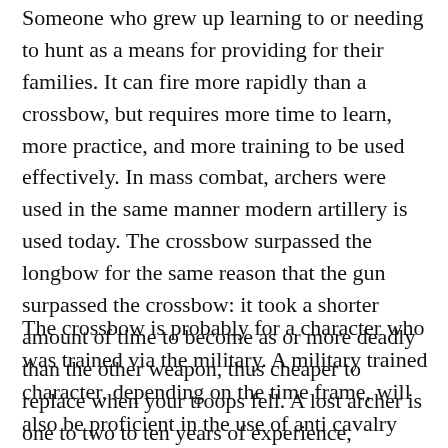Someone who grew up learning to or needing to hunt as a means for providing for their families. It can fire more rapidly than a crossbow, but requires more time to learn, more practice, and more training to be used effectively. In mass combat, archers were used in the same manner modern artillery is used today. The crossbow surpassed the longbow for the same reason that the gun surpassed the crossbow: it took a shorter amount of time to become as or more deadly than the other weapon, thus cheaper to replace when your troops fell. A lost archer is one to two to ten years of experience, compared to a lost crossbowman or gunman which is “point that way and fire”.
The crossbow is probably for a character who was trained via the military. A military trained character, depending on the time frame, will also be proficient in the use of anti cavalry tactics and pole arms. A female military conscript could easily just be a peasant girl whose mother dressed her up as a boy to either hide her from the men or hide a more valuable male